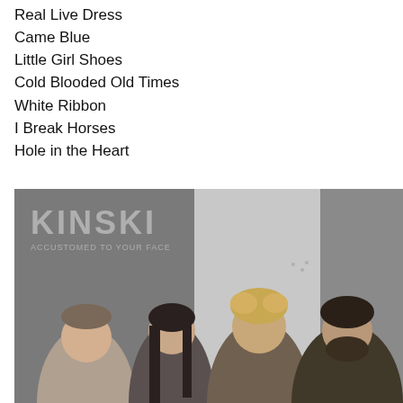Real Live Dress
Came Blue
Little Girl Shoes
Cold Blooded Old Times
White Ribbon
I Break Horses
Hole in the Heart
[Figure (photo): Band photo of Kinski, four members posing seriously against a grey wall background. Text overlay reads 'KINSKI' and 'ACCUSTOMED TO YOUR FACE'.]